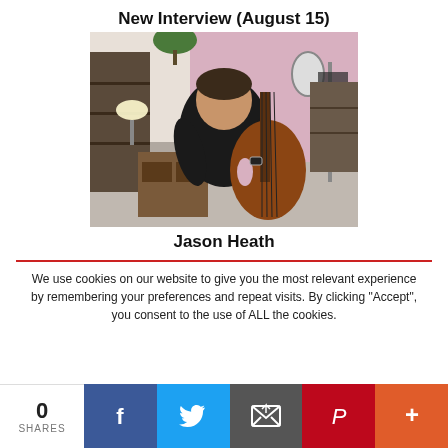New Interview (August 15)
[Figure (photo): Man holding a double bass in an apartment setting]
Jason Heath
We use cookies on our website to give you the most relevant experience by remembering your preferences and repeat visits. By clicking "Accept", you consent to the use of ALL the cookies.
0 SHARES
[Figure (infographic): Social sharing bar with Facebook, Twitter, Email, Pinterest, and More buttons]